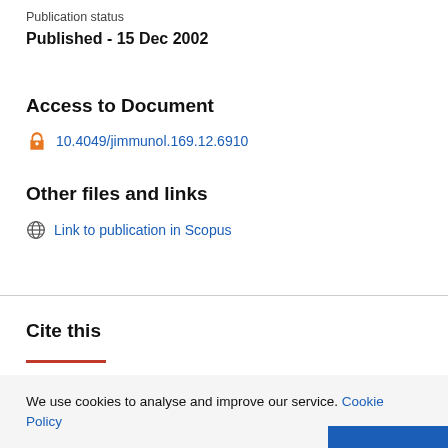Publication status
Published - 15 Dec 2002
Access to Document
10.4049/jimmunol.169.12.6910
Other files and links
Link to publication in Scopus
Cite this
We use cookies to analyse and improve our service. Cookie Policy